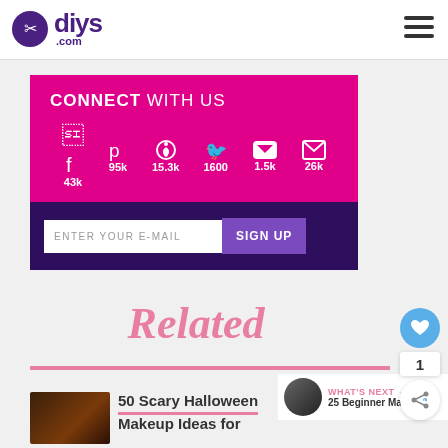diys.com
CONNECT WITH US
43k  95k  15.3k  1600  1.5k  26k
ENTER YOUR E-MAIL  SIGN UP
Related
WHAT'S NEXT → 25 Beginner Makeup...
50 Scary Halloween Makeup Ideas for